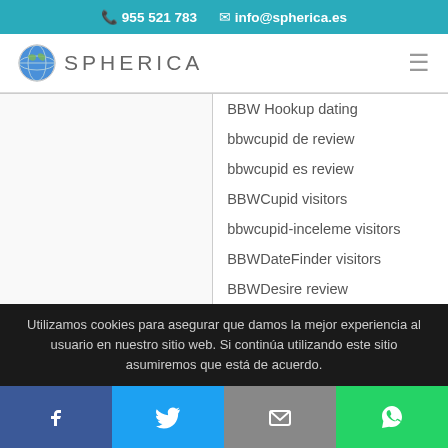955 521 783   info@spherica.es
[Figure (logo): Spherica globe logo with text SPHERICA]
BBW Hookup dating
bbwcupid de review
bbwcupid es review
BBWCupid visitors
bbwcupid-inceleme visitors
BBWDateFinder visitors
BBWDesire review
Utilizamos cookies para asegurar que damos la mejor experiencia al usuario en nuestro sitio web. Si continúa utilizando este sitio asumiremos que está de acuerdo.
Facebook  Twitter  Email  WhatsApp